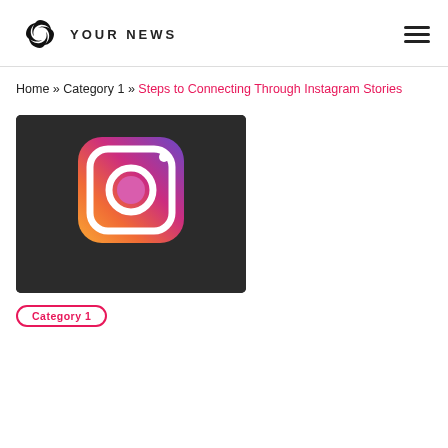YOUR NEWS
Home » Category 1 » Steps to Connecting Through Instagram Stories
[Figure (screenshot): Instagram app icon on a dark background - gradient purple/orange camera logo with white camera outline]
Category 1